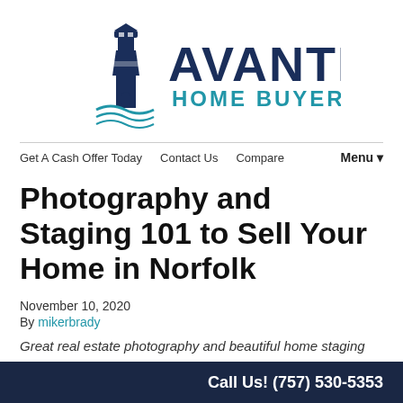[Figure (logo): Avante Home Buyers logo with lighthouse icon on the left and 'AVANTE' in dark navy bold text with 'HOME BUYERS' in blue below]
Get A Cash Offer Today   Contact Us   Compare   Menu▾
Photography and Staging 101 to Sell Your Home in Norfolk
November 10, 2020
By mikerbrady
Great real estate photography and beautiful home staging
Call Us! (757) 530-5353